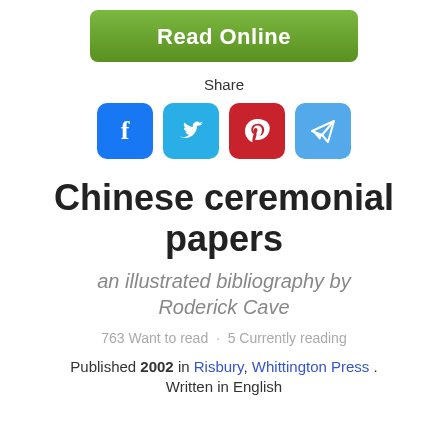[Figure (other): Green 'Read Online' button]
Share
[Figure (other): Social media icons: Facebook (blue), Twitter (cyan), Pinterest (red), Telegram (blue)]
Chinese ceremonial papers
an illustrated bibliography by Roderick Cave
763 Want to read · 5 Currently reading
Published 2002 in Risbury, Whittington Press . Written in English